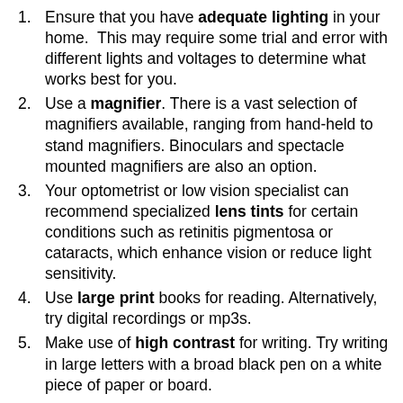Ensure that you have adequate lighting in your home. This may require some trial and error with different lights and voltages to determine what works best for you.
Use a magnifier. There is a vast selection of magnifiers available, ranging from hand-held to stand magnifiers. Binoculars and spectacle mounted magnifiers are also an option.
Your optometrist or low vision specialist can recommend specialized lens tints for certain conditions such as retinitis pigmentosa or cataracts, which enhance vision or reduce light sensitivity.
Use large print books for reading. Alternatively, try digital recordings or mp3s.
Make use of high contrast for writing. Try writing in large letters with a broad black pen on a white piece of paper or board.
Adding a high-contrast stripe on steps (bright